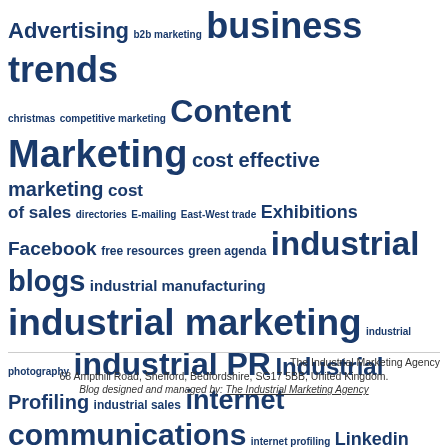[Figure (infographic): Word cloud featuring marketing-related terms in various font sizes, all in dark blue color on white background. Larger terms include: business trends, Content, Marketing, cost effective marketing, industrial blogs, industrial marketing, industrial PR, internet communications, Social Media, videos, Youtube. Smaller terms include: Advertising, b2b marketing, christmas, competitive marketing, cost of sales, directories, E-mailing, East-West trade, Exhibitions, Facebook, free resources, green agenda, industrial manufacturing, industrial photography, Industrial Profiling, industrial sales, internet profiling, Linkedin, marketing guides, Multi-channel Marketing, newsletters, organic searches, page one listings, PR, seminars, seo, specialist marketing, technical sales, Twitter, valuable content, video, webprofiles, web profiling, website design, websites.]
The Industrial Marketing Agency
68 Ampthill Road, Shefford, Bedfordshire, SG17 5BB, United Kingdom.
Blog designed and managed by: The Industrial Marketing Agency